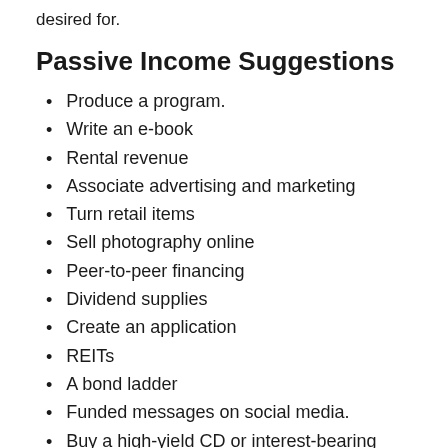desired for.
Passive Income Suggestions
Produce a program.
Write an e-book
Rental revenue
Associate advertising and marketing
Turn retail items
Sell photography online
Peer-to-peer financing
Dividend supplies
Create an application
REITs
A bond ladder
Funded messages on social media.
Buy a high-yield CD or interest-bearing accounts
Rent out a room.